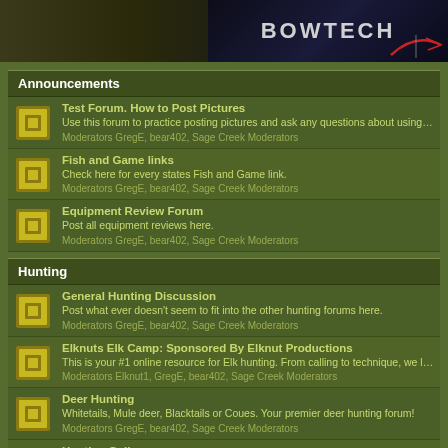[Figure (screenshot): Bowtech archery banner/logo at top of page]
Announcements
Test Forum. How to Post Pictures
Use this forum to practice posting pictures and ask any questions about using Forums.
Moderators GregE, bear402, Sage Creek Moderators
Fish and Game links
Check here for every states Fish and Game link.
Moderators GregE, bear402, Sage Creek Moderators
Equipment Review Forum
Post all equipment reviews here.
Moderators GregE, bear402, Sage Creek Moderators
Hunting
General Hunting Discussion
Post what ever doesn't seem to fit into the other hunting forums here.
Moderators GregE, bear402, Sage Creek Moderators
Elknuts Elk Camp: Sponsored By Elknut Productions
This is your #1 online resource for Elk hunting. From calling to technique, we l... Elk!
Moderators Elknut1, GregE, bear402, Sage Creek Moderators
Deer Hunting
Whitetails, Mule deer, Blacktails or Coues. Your premier deer hunting forum!
Moderators GregE, bear402, Sage Creek Moderators
Hunting Gallery
Sage Creek Members hunting photos.
Moderators GregE, bear402, Sage Creek Moderators
Sheep/Moose/Mt. Goats/Antelope
Sheep, Moose, Mt. Goat or Antelope hunting.
Moderators GregE, bear402, Sage Creek Moderators
Turkey